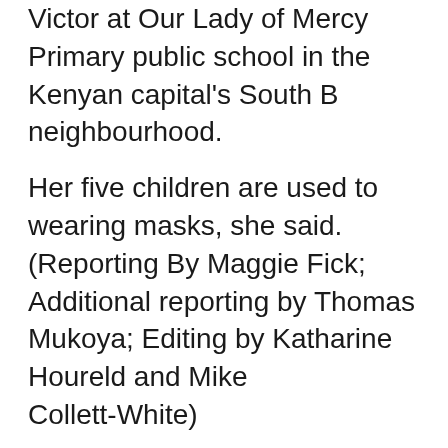Victor at Our Lady of Mercy Primary public school in the Kenyan capital's South B neighbourhood.
Her five children are used to wearing masks, she said. (Reporting By Maggie Fick; Additional reporting by Thomas Mukoya; Editing by Katharine Houreld and Mike Collett-White)
We use cookies
We use cookies and other tracking technologies to improve your browsing experience on our website, to show you personalized content and targeted ads, to analyze our website traffic, and to understand where our visitors are coming from.